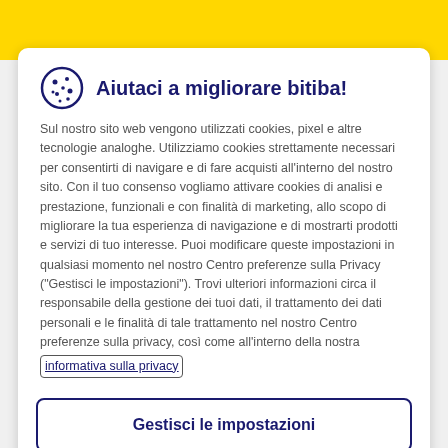Aiutaci a migliorare bitiba!
Sul nostro sito web vengono utilizzati cookies, pixel e altre tecnologie analoghe. Utilizziamo cookies strettamente necessari per consentirti di navigare e di fare acquisti all'interno del nostro sito. Con il tuo consenso vogliamo attivare cookies di analisi e prestazione, funzionali e con finalità di marketing, allo scopo di migliorare la tua esperienza di navigazione e di mostrarti prodotti e servizi di tuo interesse. Puoi modificare queste impostazioni in qualsiasi momento nel nostro Centro preferenze sulla Privacy ("Gestisci le impostazioni"). Trovi ulteriori informazioni circa il responsabile della gestione dei tuoi dati, il trattamento dei dati personali e le finalità di tale trattamento nel nostro Centro preferenze sulla privacy, così come all'interno della nostra informativa sulla privacy
Gestisci le impostazioni
Accetta e prosegui